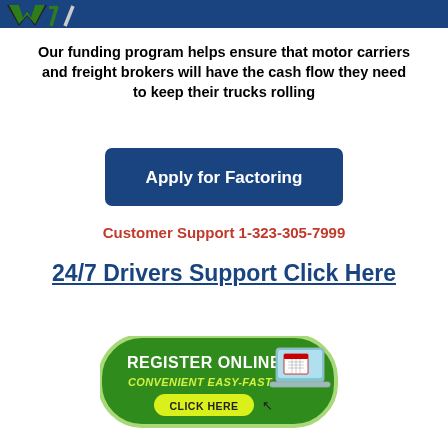[Figure (logo): W7 logo with green and dark checkmark/slash style mark on dark blue bar background]
Our funding program helps ensure that motor carriers and freight brokers will have the cash flow they need to keep their trucks rolling
[Figure (other): Blue rounded rectangle button with white bold text: Apply for Factoring]
Customer Support 1-323-305-7999
24/7 Drivers Support Click Here
[Figure (other): Green rounded rectangle button with white text REGISTER ONLINE, yellow italic text CONVENIENT EASY-FAST, yellow pill CLICK HERE with cursor icon, and laptop graphic]